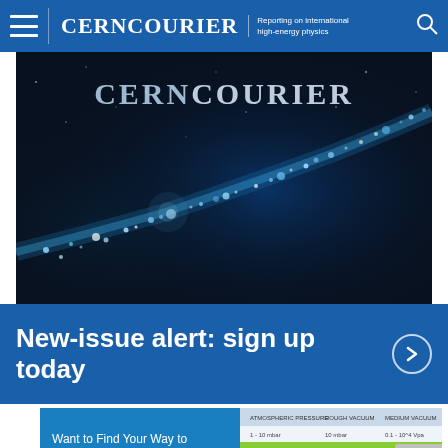CERNCOURIER | Reporting on international high-energy physics
[Figure (photo): CERN Courier magazine cover: dark background with glowing blue particle trail/wave sweeping across. Title 'CERNCOURIER' in large serif letters at top.]
New-issue alert: sign up today
[Figure (photo): Advertisement: Want to Find Your Way to Vacuum Solutions? Shows a blue panel with white text on left and a product listing table/image on the right showing dry scroll pumps and rotary vane pumps.]